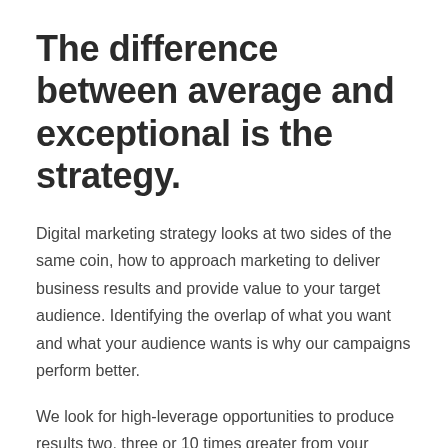The difference between average and exceptional is the strategy.
Digital marketing strategy looks at two sides of the same coin, how to approach marketing to deliver business results and provide value to your target audience. Identifying the overlap of what you want and what your audience wants is why our campaigns perform better.
We look for high-leverage opportunities to produce results two, three or 10 times greater from your marketing investment.
Outcomes like these are only achieved through a